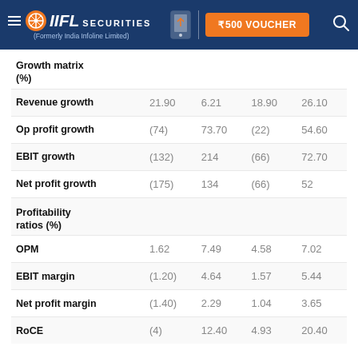IIFL SECURITIES (Formerly India Infoline Limited) | ₹500 VOUCHER
|  |  |  |  |  |
| --- | --- | --- | --- | --- |
| Growth matrix (%) |  |  |  |  |
| Revenue growth | 21.90 | 6.21 | 18.90 | 26.10 |
| Op profit growth | (74) | 73.70 | (22) | 54.60 |
| EBIT growth | (132) | 214 | (66) | 72.70 |
| Net profit growth | (175) | 134 | (66) | 52 |
| Profitability ratios (%) |  |  |  |  |
| OPM | 1.62 | 7.49 | 4.58 | 7.02 |
| EBIT margin | (1.20) | 4.64 | 1.57 | 5.44 |
| Net profit margin | (1.40) | 2.29 | 1.04 | 3.65 |
| RoCE | (4) | 12.40 | 4.93 | 20.40 |